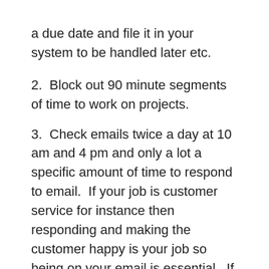a due date and file it in your system to be handled later etc.
2.  Block out 90 minute segments of time to work on projects.
3.  Check emails twice a day at 10 am and 4 pm and only a lot a specific amount of time to respond to email.  If your job is customer service for instance then responding and making the customer happy is your job so being on your email is essential.  If however, this is not your primary job junction then this is a job stealer.  So is checking Facebook, and twitter.  If you find yourself getting less and less done during the day and your performance reviews less than stellar, then this may be this